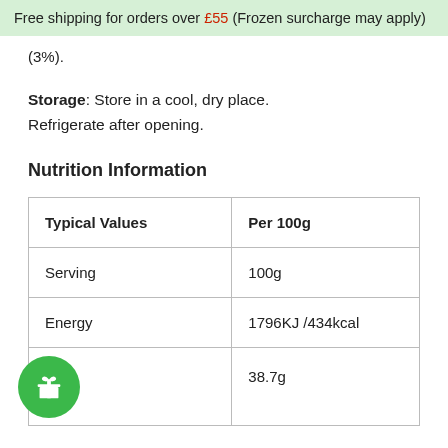Free shipping for orders over £55 (Frozen surcharge may apply)
(3%).
Storage: Store in a cool, dry place. Refrigerate after opening.
Nutrition Information
| Typical Values | Per 100g |
| --- | --- |
| Serving | 100g |
| Energy | 1796KJ /434kcal |
| Fats | 38.7g |